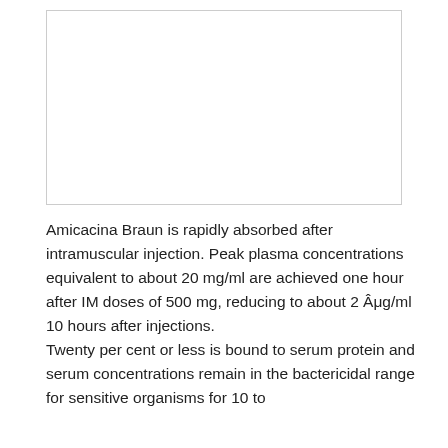[Figure (other): Empty white box with border, likely a placeholder for an image or chart.]
Amicacina Braun is rapidly absorbed after intramuscular injection. Peak plasma concentrations equivalent to about 20 mg/ml are achieved one hour after IM doses of 500 mg, reducing to about 2 Âμg/ml 10 hours after injections.
Twenty per cent or less is bound to serum protein and serum concentrations remain in the bactericidal range for sensitive organisms for 10 to